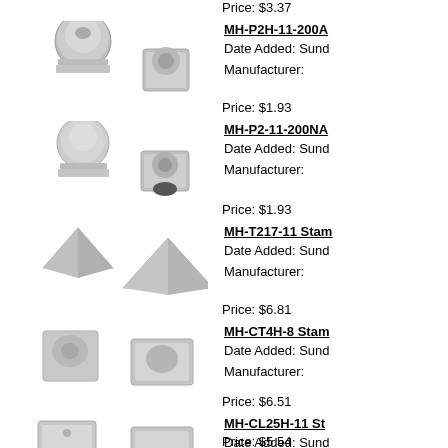Price: $3.37
MH-P2H-11-200A
Date Added: Sund
Manufacturer:
Price: $1.93
MH-P2-11-200NA
Date Added: Sund
Manufacturer:
Price: $1.93
MH-T217-11 Stam
Date Added: Sund
Manufacturer:
Price: $6.81
MH-CT4H-8 Stam
Date Added: Sund
Manufacturer:
Price: $6.51
MH-CL25H-11 St
Date Added: Sund
Manufacturer:
Price: $5.54